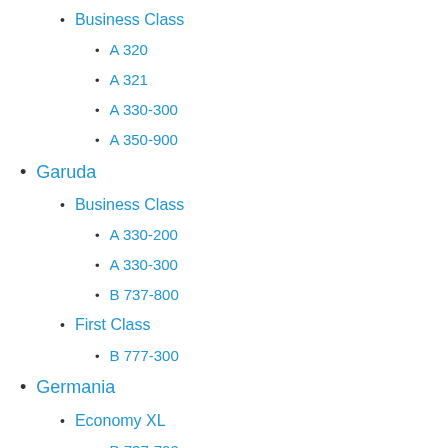Business Class
A 320
A 321
A 330-300
A 350-900
Garuda
Business Class
A 330-200
A 330-300
B 737-800
First Class
B 777-300
Germania
Economy XL
B 737-700
Germanwings